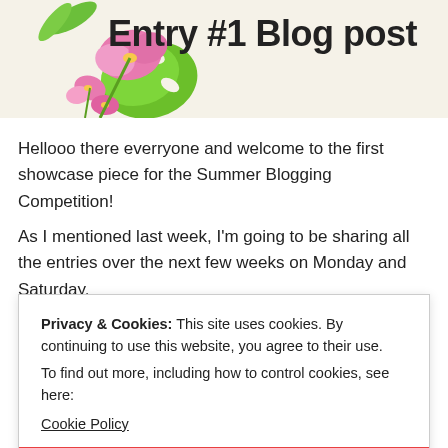[Figure (illustration): Decorative header banner with tropical flowers (pink orchids) and green monstera leaves on a beige/cream background]
Entry #1 Blog post
Hellooo there everryone and welcome to the first showcase piece for the Summer Blogging Competition!
As I mentioned last week, I’m going to be sharing all the entries over the next few weeks on Monday and Saturday.
Privacy & Cookies: This site uses cookies. By continuing to use this website, you agree to their use.
To find out more, including how to control cookies, see here:
Cookie Policy
CLOSE AND ACCEPT
before the end of the summer, I’m going to do two art